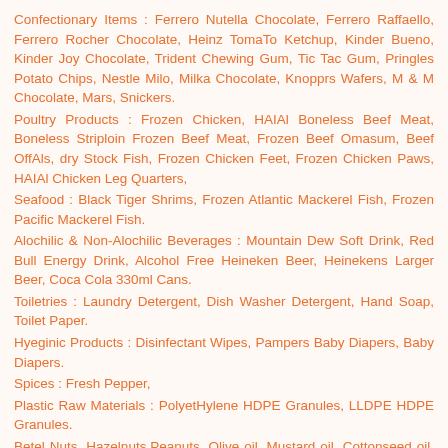Confectionary Items : Ferrero Nutella Chocolate, Ferrero Raffaello, Ferrero Rocher Chocolate, Heinz TomaTo Ketchup, Kinder Bueno, Kinder Joy Chocolate, Trident Chewing Gum, Tic Tac Gum, Pringles Potato Chips, Nestle Milo, Milka Chocolate, Knopprs Wafers, M & M Chocolate, Mars, Snickers.
Poultry Products : Frozen Chicken, HAIAl Boneless Beef Meat, Boneless Striploin Frozen Beef Meat, Frozen Beef Omasum, Beef OffAls, dry Stock Fish, Frozen Chicken Feet, Frozen Chicken Paws, HAIAl Chicken Leg Quarters,
Seafood : Black Tiger Shrims, Frozen Atlantic Mackerel Fish, Frozen Pacific Mackerel Fish.
Alochilic & Non-Alochilic Beverages : Mountain Dew Soft Drink, Red Bull Energy Drink, Alcohol Free Heineken Beer, Heinekens Larger Beer, Coca Cola 330ml Cans.
Toiletries : Laundry Detergent, Dish Washer Detergent, Hand Soap, Toilet Paper.
Hyeginic Products : Disinfectant Wipes, Pampers Baby Diapers, Baby Diapers.
Spices : Fresh Pepper,
Plastic Raw Materials : PolyetHylene HDPE Granules, LLDPE HDPE Granules.
Betel Nuts, Hazelnuts,Peanuts, Olive oil, Mustard oil, Cottonseed oil, Cumin Oil, Hazelnut Oil, Peanut oil, Rapeseed Oil, Rice Bran Oil, Sesame Seed Oil, Soya bean Oil, Barley Grain, Barley...